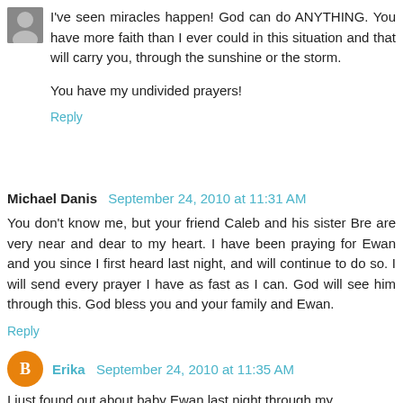I've seen miracles happen! God can do ANYTHING. You have more faith than I ever could in this situation and that will carry you, through the sunshine or the storm.
You have my undivided prayers!
Reply
Michael Danis  September 24, 2010 at 11:31 AM
You don't know me, but your friend Caleb and his sister Bre are very near and dear to my heart. I have been praying for Ewan and you since I first heard last night, and will continue to do so. I will send every prayer I have as fast as I can. God will see him through this. God bless you and your family and Ewan.
Reply
Erika  September 24, 2010 at 11:35 AM
I just found out about baby Ewan last night through my